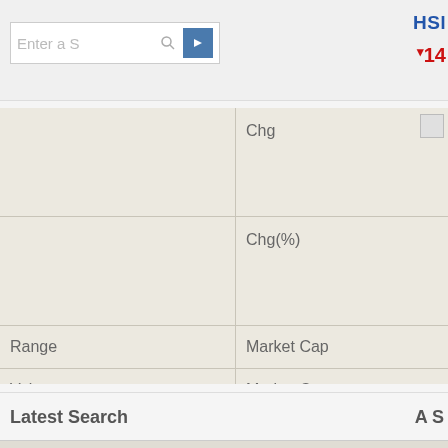Enter a S▶ (search box placeholder)
HSI ▾14 (ticker display, partially visible)
|  | Chg |  |
| --- | --- | --- |
|  | Chg |  |
|  | Chg(%) |  |
| Range | Market Cap |  |
| Volume | Market Cap |  |
| Turnover | EPS |  |
| P/E Ratio | Yield |  |
| Lot Size 🔢 | 52 WK |  |
Latest Search
A S